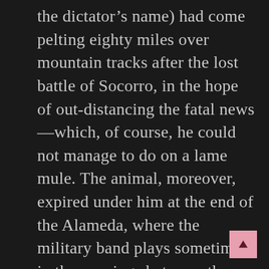the dictator's name) had come pelting eighty miles over mountain tracks after the lost battle of Socorro, in the hope of out-distancing the fatal news—which, of course, he could not manage to do on a lame mule. The animal, moreover, expired under him at the end of the Alameda, where the military band plays sometimes in the evenings between the revolutions. “Sir,” Captain Mitchell would pursue with portentous gravity, “the ill-timed end of that mule attracted attention to the unfortunate rider. His features were recognized by several deserters from the